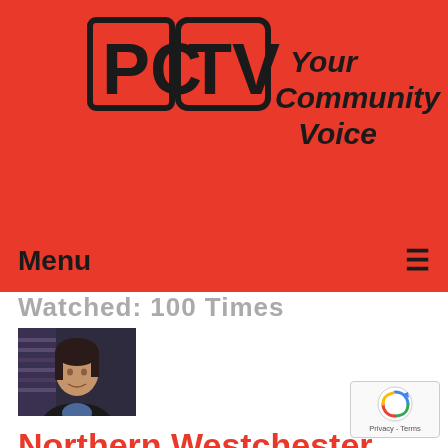[Figure (logo): PCTV logo with red background and tagline 'Your Community Voice']
Menu ☰
Watched: 100 Times
[Figure (photo): Thumbnail photo of a woman in a dark jacket with blue shirt, seated in a studio setting]
Northern Westchester Hospital & Katonah Museum Artist Association
Aired: 05/18/2020